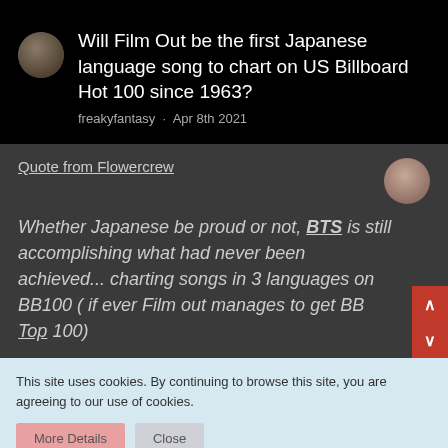Will Film Out be the first Japanese language song to chart on US Billboard Hot 100 since 1963?
freakyfantasy · Apr 8th 2021
Quote from Flowercrew
Whether Japanese be proud or not, BTS is still accomplishing what had never been achieved... charting songs in 3 languages on BB100 ( if ever Film out manages to get BB Top 100)
This site uses cookies. By continuing to browse this site, you are agreeing to our use of cookies.